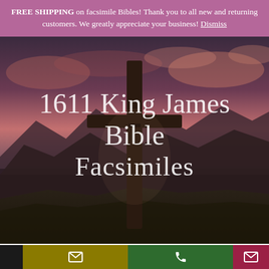FREE SHIPPING on facsimile Bibles! Thank you to all new and returning customers. We greatly appreciate your business! Dismiss
[Figure (photo): Dark moody photo of a rough wooden cross standing on a mountain ridge at sunset, with dramatic pink and purple clouds in the background and mountain ranges visible below.]
1611 King James Bible Facsimiles
Bottom navigation bar with email icon (yellow), phone icon (green), and email icon (crimson)